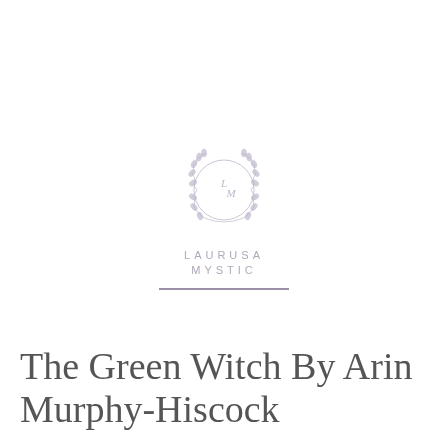[Figure (logo): Laurusa Mystic logo: circular laurel wreath with stylized LM monogram inside a circle, with text LAURUSA MYSTIC below in spaced caps, and a horizontal divider line beneath]
[Figure (infographic): Pagination dots: one pill-shaped rectangle followed by three circles, indicating a slideshow or carousel position indicator, with a circular arrow-up button labeled TOP on the right]
The Green Witch By Arin Murphy-Hiscock